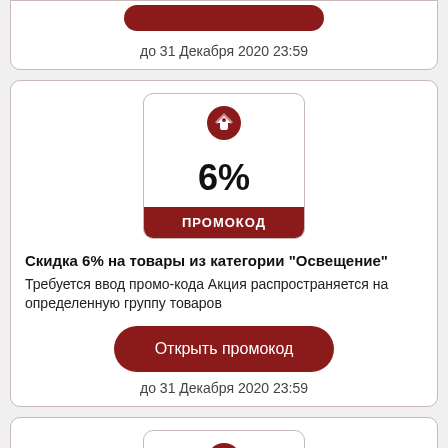[Figure (other): Top partial card showing a red button and date text 'до 31 Декабря 2020 23:59']
[Figure (other): Promo card with 6% coupon icon, title, description, open button, and expiry date]
[Figure (other): Partial promo card at bottom showing 7% coupon icon and ПРОМОКОД label]